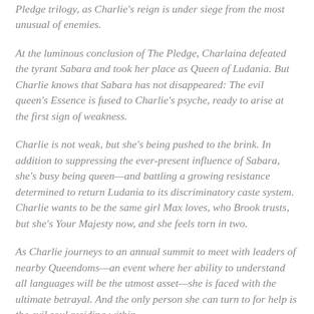Pledge trilogy, as Charlie's reign is under siege from the most unusual of enemies.
At the luminous conclusion of The Pledge, Charlaina defeated the tyrant Sabara and took her place as Queen of Ludania. But Charlie knows that Sabara has not disappeared: The evil queen's Essence is fused to Charlie's psyche, ready to arise at the first sign of weakness.
Charlie is not weak, but she's being pushed to the brink. In addition to suppressing the ever-present influence of Sabara, she's busy being queen—and battling a growing resistance determined to return Ludania to its discriminatory caste system. Charlie wants to be the same girl Max loves, who Brook trusts, but she's Your Majesty now, and she feels torn in two.
As Charlie journeys to an annual summit to meet with leaders of nearby Queendoms—an event where her ability to understand all languages will be the utmost asset—she is faced with the ultimate betrayal. And the only person she can turn to for help is the evil soul residing within.